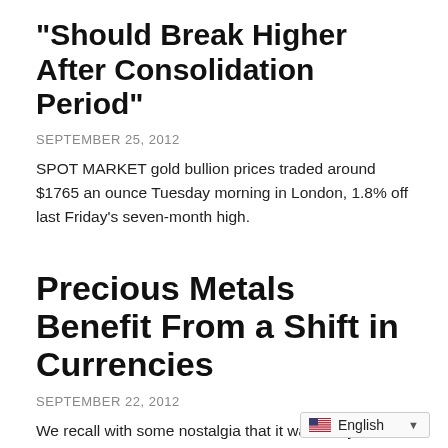“Should Break Higher After Consolidation Period”
SEPTEMBER 25, 2012
SPOT MARKET gold bullion prices traded around $1765 an ounce Tuesday morning in London, 1.8% off last Friday’s seven-month high.
Precious Metals Benefit From a Shift in Currencies
SEPTEMBER 22, 2012
We recall with some nostalgia that it was last year on September 6, that gold hit an all-time high of $1,923.